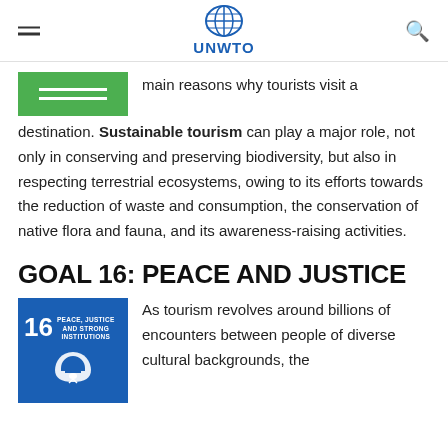UNWTO
main reasons why tourists visit a destination. Sustainable tourism can play a major role, not only in conserving and preserving biodiversity, but also in respecting terrestrial ecosystems, owing to its efforts towards the reduction of waste and consumption, the conservation of native flora and fauna, and its awareness-raising activities.
GOAL 16: PEACE AND JUSTICE
As tourism revolves around billions of encounters between people of diverse cultural backgrounds, the